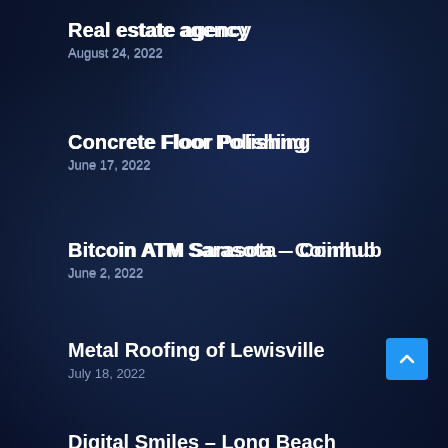Real estate agency
August 24, 2022
Concrete Floor Polishing
June 17, 2022
Bitcoin ATM Sarasota – Coinhub
June 2, 2022
Metal Roofing of Lewisville
July 18, 2022
Maxcare Heating and Cooling
February 21, 2022
Digital Smiles – Long Beach